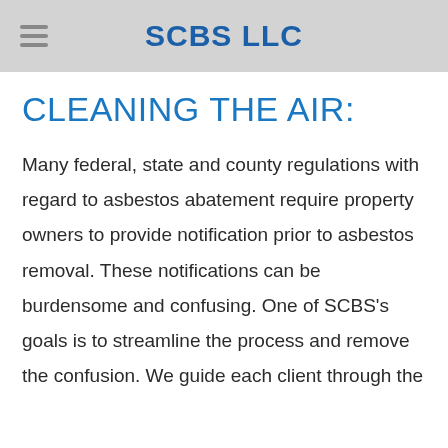SCBS LLC
CLEANING THE AIR:
Many federal, state and county regulations with regard to asbestos abatement require property owners to provide notification prior to asbestos removal. These notifications can be burdensome and confusing. One of SCBS's goals is to streamline the process and remove the confusion. We guide each client through the